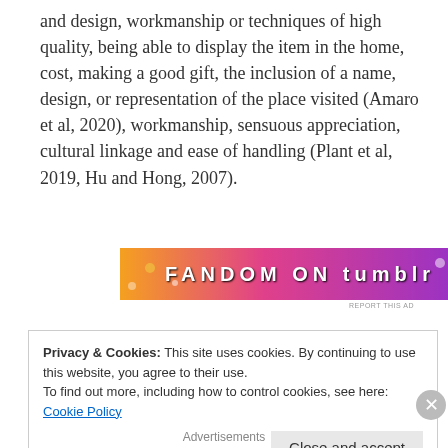and design, workmanship or techniques of high quality, being able to display the item in the home, cost, making a good gift, the inclusion of a name, design, or representation of the place visited (Amaro et al, 2020), workmanship, sensuous appreciation, cultural linkage and ease of handling (Plant et al, 2019, Hu and Hong, 2007).
[Figure (other): Fandom on Tumblr advertisement banner with colorful gradient background in orange, pink and purple with bold white text reading 'FANDOM ON tumblr']
Privacy & Cookies: This site uses cookies. By continuing to use this website, you agree to their use. To find out more, including how to control cookies, see here: Cookie Policy
Close and accept
Advertisements